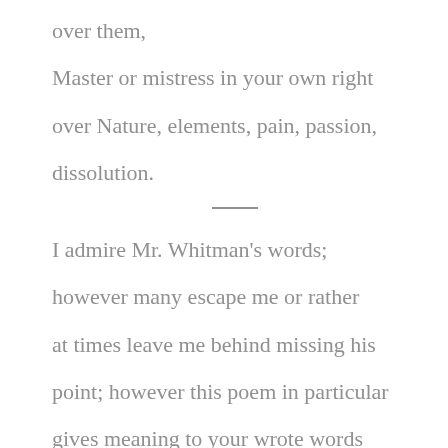over them,
Master or mistress in your own right
over Nature, elements, pain, passion,
dissolution.
———
I admire Mr. Whitman's words; however many escape me or rather at times leave me behind missing his point; however this poem in particular gives meaning to your wrote words